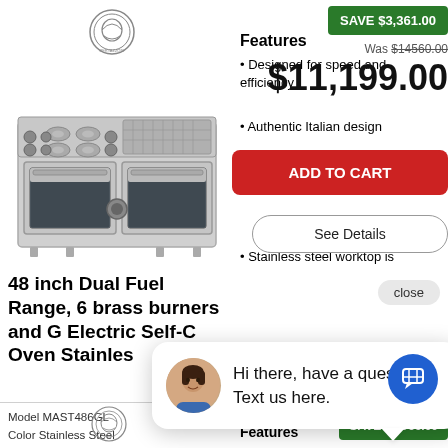[Figure (logo): Brand logo circular badge, top of first product]
[Figure (photo): Stainless steel 48 inch dual fuel range oven product photo]
Features
Designed for speed and efficiency
Authentic Italian design
Most even-temperature baking and roasting
Stainless steel worktop is
SAVE $3,361.00
Was $14560.00
$11,199.00
ADD TO CART
See Details
close
48 inch Dual Fuel Range, 6 brass burners and G Electric Self-C Oven Stainles
Model MAST486GL
Color Stainless Steel
Oven
Hi there, have a question? Text us here.
[Figure (logo): Brand logo circular badge, bottom second product]
Features
SAVE $1,966.00